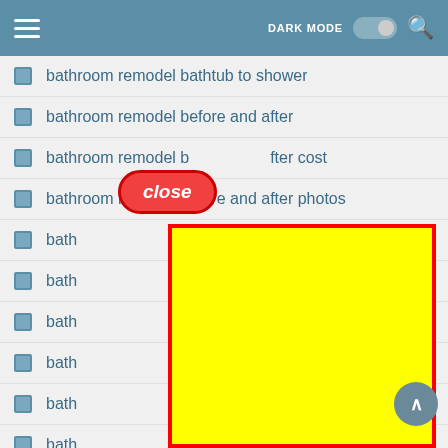Navigation bar with hamburger menu, DARK MODE toggle, and search icon
bathroom remodel bathtub to shower
bathroom remodel before and after
bathroom remodel before and after cost
bathroom remodel before and after photos
bath...
bath...
bath...
bath...
bath...
bath...
bath...
[Figure (screenshot): A 'close' button label in red italic bold text on a red-bordered rounded rectangle overlay, and a yellow highlighted block with red border covering part of the list]